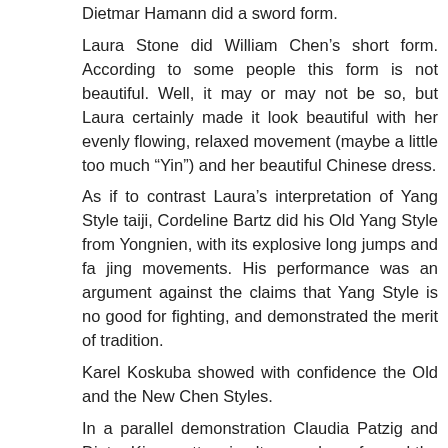Dietmar Hamann did a sword form.
Laura Stone did William Chen’s short form. According to some people this form is not beautiful. Well, it may or may not be so, but Laura certainly made it look beautiful with her evenly flowing, relaxed movement (maybe a little too much “Yin”) and her beautiful Chinese dress.
As if to contrast Laura’s interpretation of Yang Style taiji, Cordeline Bartz did his Old Yang Style from Yongnien, with its explosive long jumps and fa jing movements. His performance was an argument against the claims that Yang Style is no good for fighting, and demonstrated the merit of tradition.
Karel Koskuba showed with confidence the Old and the New Chen Styles.
In a parallel demonstration Claudia Patzig and Dieter Kiesswetter simultaneously performed the Northern and the Southern Wu Styles.